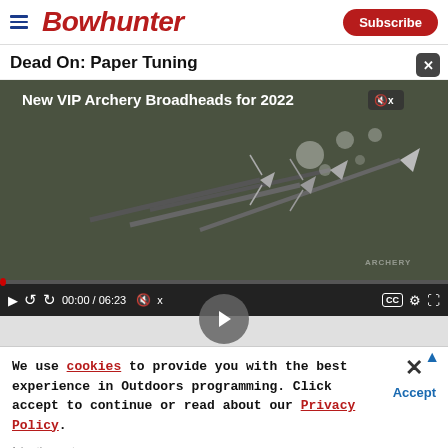Bowhunter | Subscribe
Dead On: Paper Tuning
[Figure (screenshot): Video player showing 'New VIP Archery Broadheads for 2022' with broadhead arrows on dark background, video controls showing 00:00 / 06:23, ARCHERY watermark]
We use cookies to provide you with the best experience in Outdoors programming. Click accept to continue or read about our Privacy Policy.
Advertisement
[Figure (photo): HEVI-SHOT HEVI-METAL advertisement banner: MORE DISTANCE. MORE GREEN. HEVI-SHOT. LONGER RANGE. BANG DEAD.]